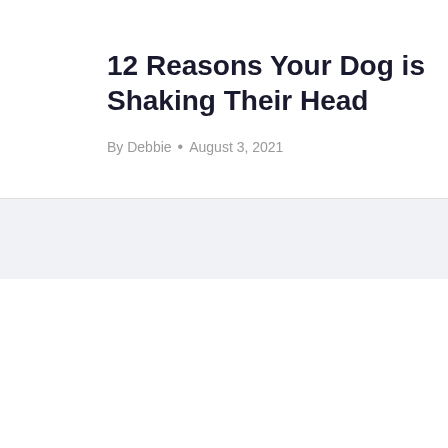12 Reasons Your Dog is Shaking Their Head
By Debbie • August 3, 2021